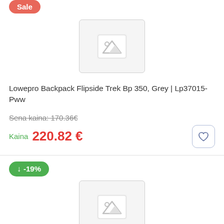[Figure (screenshot): Product image placeholder with mountain/landscape icon for Lowepro Backpack Flipside Trek Bp 350]
Lowepro Backpack Flipside Trek Bp 350, Grey | Lp37015-Pww
Sena kaina: 170.36€
Kaina  220.82 €
[Figure (screenshot): Green badge showing -19% discount for second product]
[Figure (screenshot): Product image placeholder with mountain/landscape icon for Lowepro Backpack Flipside Trek Bp 450 Aw]
Lowepro Backpack Flipside Trek Bp 450 Aw, Grey |